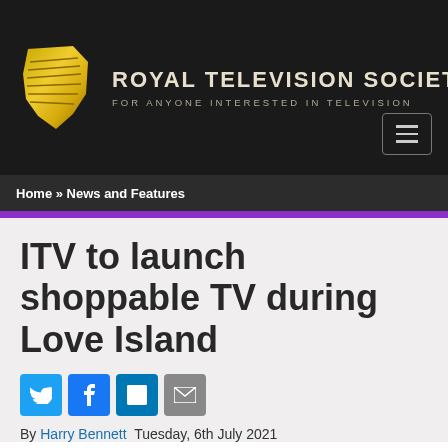ROYAL TELEVISION SOCIETY — FOR ANYONE INTERESTED IN TELEVISION
Home » News and Features
ITV to launch shoppable TV during Love Island
By Harry Bennett  Tuesday, 6th July 2021
[Figure (photo): Article image partially visible at bottom of page]